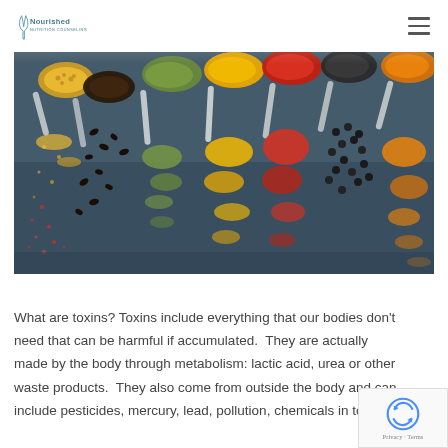Nourished Nutrition Counseling — navigation header with logo and hamburger menu
[Figure (photo): Overhead view of multiple spoons filled with colorful spices (yellow, green, orange/turmeric, red/paprika, black pepper, orange/turmeric) scattered on a dark blue-gray slate surface]
What are toxins? Toxins include everything that our bodies don't need that can be harmful if accumulated. They are actually made by the body through metabolism: lactic acid, urea or other waste products. They also come from outside the body and can include pesticides, mercury, lead, pollution, chemicals in tobacco